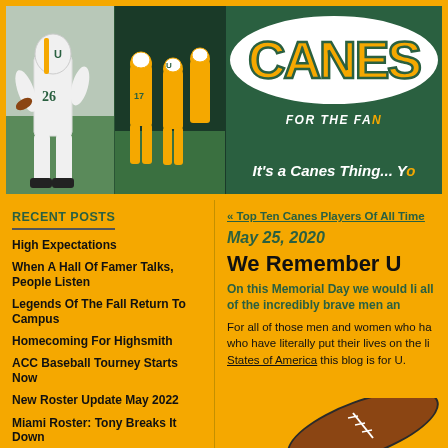[Figure (photo): Sports website banner for CanesX showing University of Miami football players in orange and green uniforms, with logo oval reading CANES and tagline 'It's a Canes Thing... Yo' and 'FOR THE FANS']
RECENT POSTS
High Expectations
When A Hall Of Famer Talks, People Listen
Legends Of The Fall Return To Campus
Homecoming For Highsmith
ACC Baseball Tourney Starts Now
New Roster Update May 2022
Miami Roster: Tony Breaks It Down
« Top Ten Canes Players Of All Time
May 25, 2020
We Remember U
On this Memorial Day we would li all of the incredibly brave men an
For all of those men and women who ha who have literally put their lives on the li States of America this blog is for U.